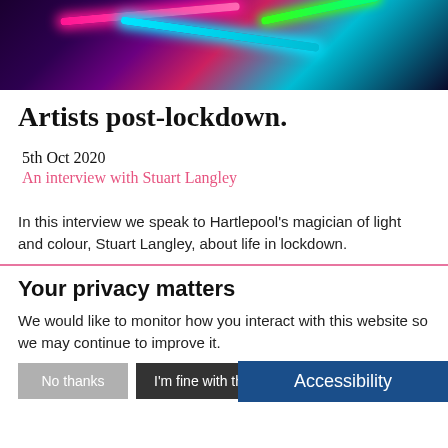[Figure (photo): Dark background with colorful neon light tubes — pink/magenta, cyan/blue, and green — photographed against a dark purple-black background.]
Artists post-lockdown.
5th Oct 2020
An interview with Stuart Langley
In this interview we speak to Hartlepool's magician of light and colour,  Stuart Langley, about life in lockdown.
Your privacy matters
We would like to monitor how you interact with this website so we may continue to improve it.
No thanks   I'm fine with that   Accessibility